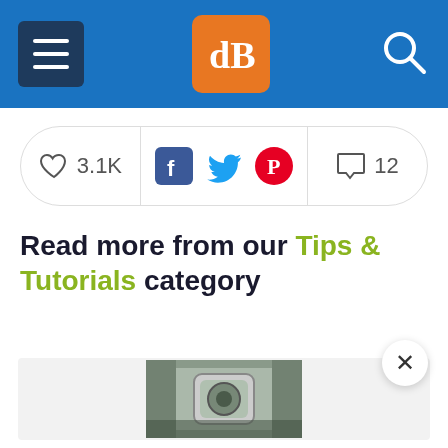dPS navigation bar with menu, logo and search
[Figure (screenshot): Social engagement bar with heart/like count 3.1K, Facebook, Twitter, Pinterest icons, and comment count 12]
Read more from our Tips & Tutorials category
[Figure (photo): Thumbnail photo showing a camera or lens outdoors with plants/foliage in background]